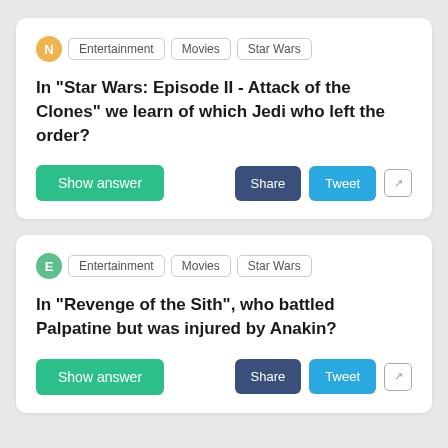N | Entertainment | Movies | Star Wars
In "Star Wars: Episode II - Attack of the Clones" we learn of which Jedi who left the order?
Show answer | Share | Tweet
E | Entertainment | Movies | Star Wars
In "Revenge of the Sith", who battled Palpatine but was injured by Anakin?
Show answer | Share | Tweet